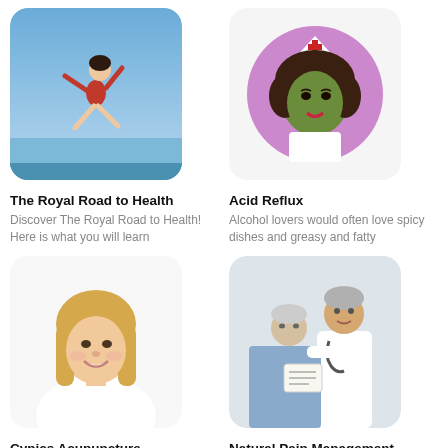[Figure (photo): Woman in red swimsuit jumping on a beach against a blue sky]
The Royal Road to Health
Discover The Royal Road to Health! Here is what you will learn
[Figure (illustration): Cartoon illustration of a nurse with curly hair in a purple circle on white rounded square background]
Acid Reflux
Alcohol lovers would often love spicy dishes and greasy and fatty
[Figure (photo): Smiling blonde woman against white background]
Cynics Acupuncture
Discover the secret behind Acupuncture for Cynics and start feeling
[Figure (photo): Doctor in white coat with stethoscope consulting with an elderly patient]
Natural Pain Management
Discover how you can naturally manage your pain without any drugs.